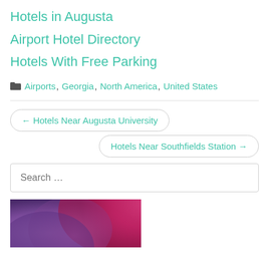Hotels in Augusta
Airport Hotel Directory
Hotels With Free Parking
Airports, Georgia, North America, United States
← Hotels Near Augusta University
Hotels Near Southfields Station →
Search ...
[Figure (illustration): Abstract colorful image with purple, magenta and pink tones in lower left corner]